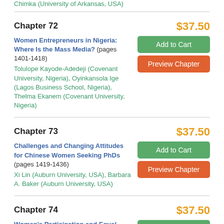Chimka (University of Arkansas, USA)
Chapter 72
$37.50
Women Entrepreneurs in Nigeria: Where Is the Mass Media? (pages 1401-1418)
Tolulope Kayode-Adedeji (Covenant University, Nigeria), Oyinkansola Ige (Lagos Business School, Nigeria), Thelma Ekanem (Covenant University, Nigeria)
Chapter 73
$37.50
Challenges and Changing Attitudes for Chinese Women Seeking PhDs (pages 1419-1436)
Xi Lin (Auburn University, USA), Barbara A. Baker (Auburn University, USA)
Chapter 74
$37.50
Women's Participation and Equal Opportunities for Leadership in Tanzania (pages 1437-1458)
Elizabeth Michael Msoka (St. John's University of Tanzania, Tanzania), Dominick Muya (Mzumbe